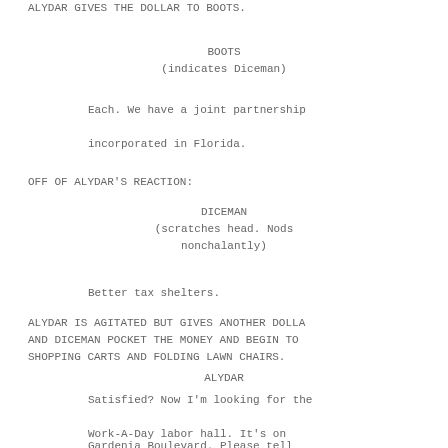ALYDAR GIVES THE DOLLAR TO BOOTS.
BOOTS
(indicates Diceman)
Each. We have a joint partnership
incorporated in Florida.
OFF OF ALYDAR'S REACTION:
DICEMAN
(scratches head. Nods
nonchalantly)
Better tax shelters.
ALYDAR IS AGITATED BUT GIVES ANOTHER DOLLA
AND DICEMAN POCKET THE MONEY AND BEGIN TO
SHOPPING CARTS AND FOLDING LAWN CHAIRS.
ALYDAR
Satisfied? Now I'm looking for the
Work-A-Day labor hall. It's on
Gardenia Boulevard. Please tell